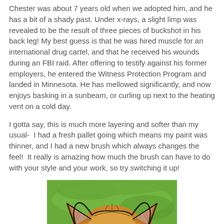Chester was about 7 years old when we adopted him, and he has a bit of a shady past. Under x-rays, a slight limp was revealed to be the result of three pieces of buckshot in his back leg! My best guess is that he was hired muscle for an international drug cartel, and that he received his wounds during an FBI raid. After offering to testify against his former employers, he entered the Witness Protection Program and landed in Minnesota. He has mellowed significantly, and now enjoys basking in a sunbeam, or curling up next to the heating vent on a cold day.
I gotta say, this is much more layering and softer than my usual-  I had a fresh pallet going which means my paint was thinner, and I had a new brush which always changes the feel!  It really is amazing how much the brush can have to do with your style and your work, so try switching it up!
[Figure (illustration): A painting of a cat (Chester) viewed from above/behind, showing the top of its head and ears against a bright green background. The cat has orangey-tan fur with black outlines, and the ears show pinkish-beige inner coloring. The style is loose and painterly.]